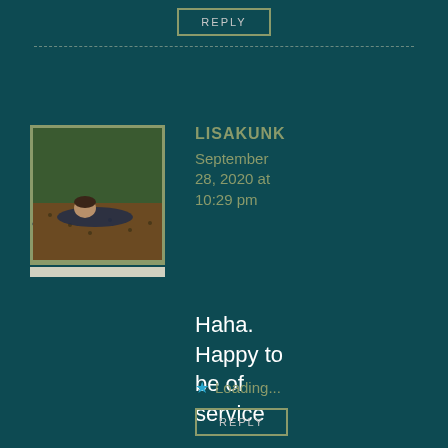REPLY
[Figure (photo): Avatar photo of user LISAKUNK showing a person lying on ground with a dog or animal outdoors on brown/dirt surface]
LISAKUNK September 28, 2020 at 10:29 pm
Haha. Happy to be of service
Loading...
REPLY